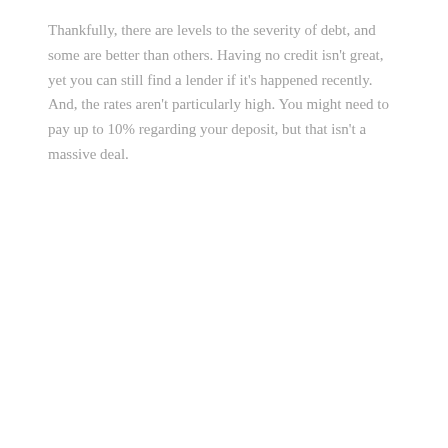Thankfully, there are levels to the severity of debt, and some are better than others. Having no credit isn't great, yet you can still find a lender if it's happened recently. And, the rates aren't particularly high. You might need to pay up to 10% regarding your deposit, but that isn't a massive deal.